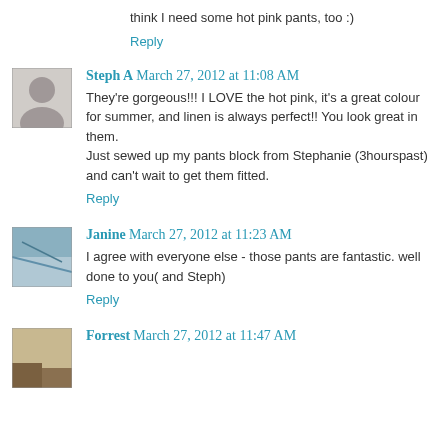think I need some hot pink pants, too :)
Reply
Steph A  March 27, 2012 at 11:08 AM
They're gorgeous!!! I LOVE the hot pink, it's a great colour for summer, and linen is always perfect!! You look great in them.
Just sewed up my pants block from Stephanie (3hourspast) and can't wait to get them fitted.
Reply
Janine  March 27, 2012 at 11:23 AM
I agree with everyone else - those pants are fantastic. well done to you( and Steph)
Reply
Forrest  March 27, 2012 at 11:47 AM